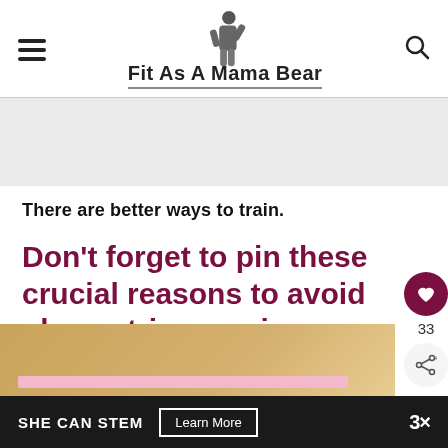Fit As A Mama Bear
[Figure (infographic): Gray advertisement banner placeholder area]
There are better ways to train.
Don't forget to pin these crucial reasons to avoid plyometric exercises as a new mom!
[Figure (photo): Partial view of a framed content image with golden/tan background and a pink bar]
SHE CAN STEM   Learn More